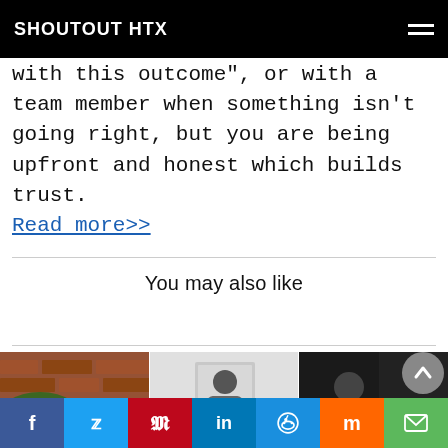SHOUTOUT HTX
with this outcome", or with a team member when something isn't going right, but you are being upfront and honest which builds trust.
Read more>>
You may also like
[Figure (photo): Three thumbnail images side by side showing article previews]
Social share buttons: Facebook, Twitter, Pinterest, LinkedIn, Reddit, Mix, Email